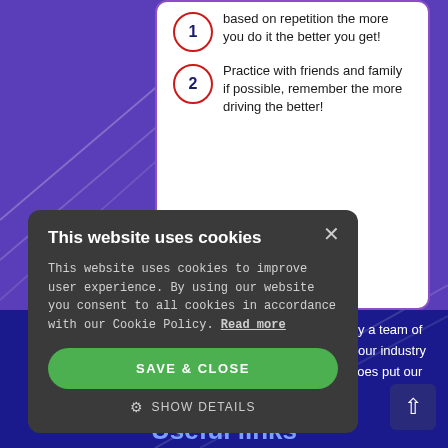based on repetition the more you do it the better you get!
Practice with friends and family if possible, remember the more driving the better!
This website uses cookies
This website uses cookies to improve user experience. By using our website you consent to all cookies in accordance with our Cookie Policy. Read more
SAVE & CLOSE
SHOW DETAILS
d by a team of ed our industry y does put our
Useful links